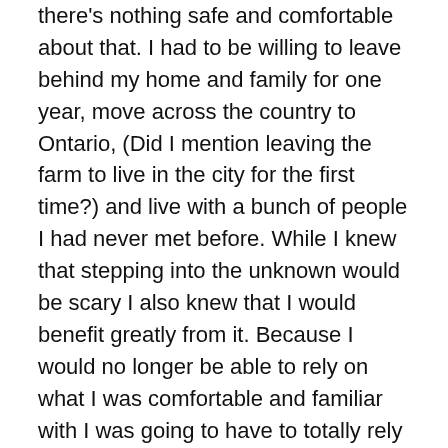there's nothing safe and comfortable about that. I had to be willing to leave behind my home and family for one year, move across the country to Ontario, (Did I mention leaving the farm to live in the city for the first time?) and live with a bunch of people I had never met before. While I knew that stepping into the unknown would be scary I also knew that I would benefit greatly from it. Because I would no longer be able to rely on what I was comfortable and familiar with I was going to have to totally rely on the Lord and trust in His grace to see me through. I knew that the Lord was asking me to be willing to let go of reliance on self and instead rely totally on Him.
#4 I came to be a part of a community.